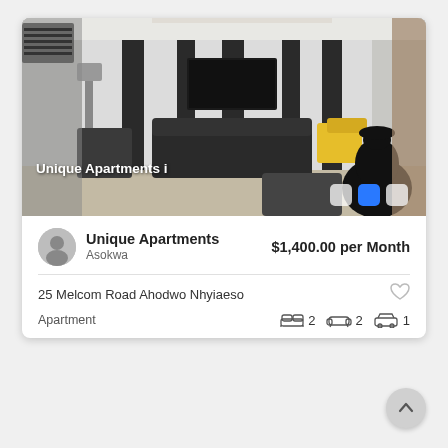[Figure (photo): Interior photo of a modern apartment living room with black and white striped walls, dark leather sofa, yellow accent chairs, TV mounted on wall, and a large black decorative vase in foreground. Image carousel with 3 dot indicators, second dot active (blue).]
Unique Apartments i
Unique Apartments
Asokwa
$1,400.00 per Month
25 Melcom Road Ahodwo Nhyiaeso
Apartment
2
2
1